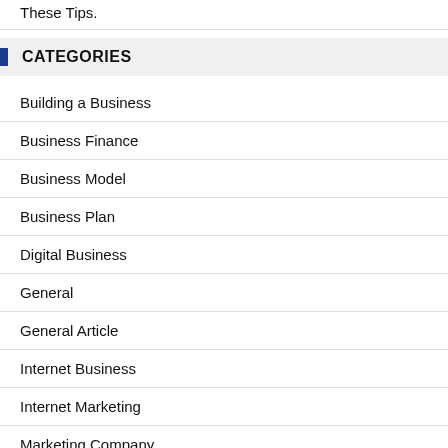These Tips.
CATEGORIES
Building a Business
Business Finance
Business Model
Business Plan
Digital Business
General
General Article
Internet Business
Internet Marketing
Marketing Company